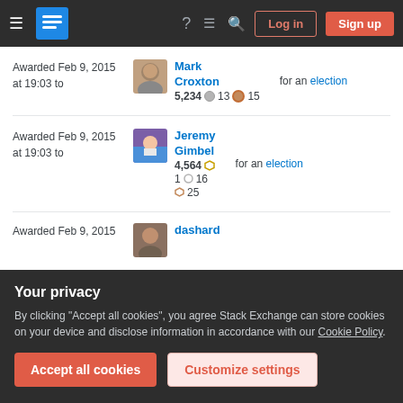[Figure (screenshot): Stack Exchange website navigation bar with hamburger menu, logo, help icon, chat icon, search icon, Log in button, and Sign up button]
Awarded Feb 9, 2015 at 19:03 to
[Figure (photo): User avatar photo of Mark Croxton]
Mark Croxton 5,234 13 15 for an election
Awarded Feb 9, 2015 at 19:03 to
[Figure (illustration): User avatar illustration of Jeremy Gimbel]
Jeremy Gimbel 4,564 1 16 25 for an election
Awarded Feb 9, 2015
[Figure (photo): User avatar photo of dashard]
dashard
Your privacy
By clicking "Accept all cookies", you agree Stack Exchange can store cookies on your device and disclose information in accordance with our Cookie Policy.
Accept all cookies
Customize settings